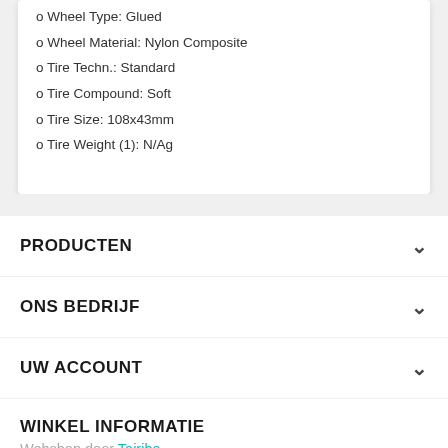o Wheel Type: Glued
o Wheel Material: Nylon Composite
o Tire Techn.: Standard
o Tire Compound: Soft
o Tire Size: 108x43mm
o Tire Weight (1): N/Ag
PRODUCTEN
ONS BEDRIJF
UW ACCOUNT
WINKEL INFORMATIE
Webshop door Tajriba